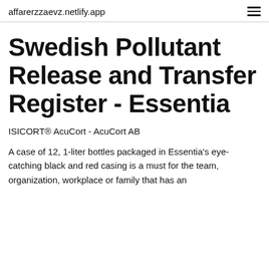affarerzzaevz.netlify.app
Swedish Pollutant Release and Transfer Register - Essentia
ISICORT® AcuCort - AcuCort AB
A case of 12, 1-liter bottles packaged in Essentia's eye-catching black and red casing is a must for the team, organization, workplace or family that has an